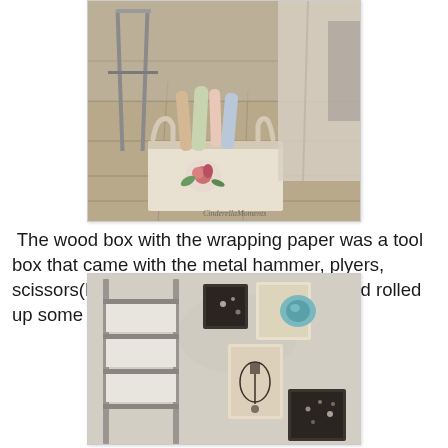[Figure (photo): A photo of a rustic wooden work scene showing a decorative white wood box with a pink rose painting, holding rolled wrapping papers and other craft supplies. A metal bar stool and fabric hanging are visible in the background on a wooden floor. A watermark reads 'CinderellaMoments'.]
The wood box with the wrapping paper was a tool box that came with the metal hammer, plyers, scissors(Hobby Lobby).  I just painted it and rolled up some pretty paper to put in.
[Figure (photo): A photo of a miniature or dollhouse-style room corner showing a grey ladder/shelf unit leaning against a textured wall, with several small framed art pieces hanging on the wall including decorative prints and a teal blue circular dish artwork.]